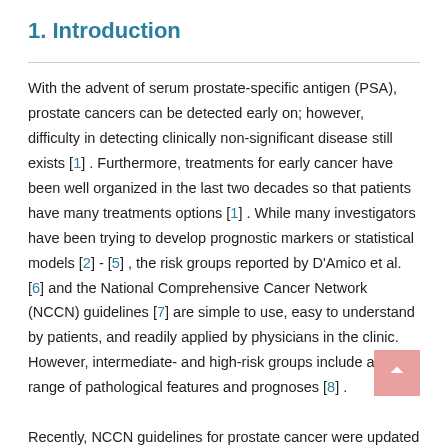1. Introduction
With the advent of serum prostate-specific antigen (PSA), prostate cancers can be detected early on; however, difficulty in detecting clinically non-significant disease still exists [1] . Furthermore, treatments for early cancer have been well organized in the last two decades so that patients have many treatments options [1] . While many investigators have been trying to develop prognostic markers or statistical models [2] - [5] , the risk groups reported by D'Amico et al. [6] and the National Comprehensive Cancer Network (NCCN) guidelines [7] are simple to use, easy to understand by patients, and readily applied by physicians in the clinic. However, intermediate- and high-risk groups include a wide range of pathological features and prognoses [8] .

Recently, NCCN guidelines for prostate cancer were updated to